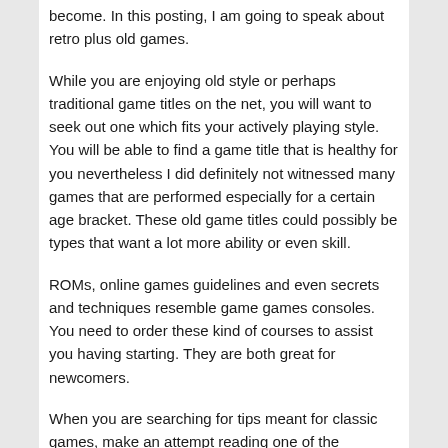become. In this posting, I am going to speak about retro plus old games.
While you are enjoying old style or perhaps traditional game titles on the net, you will want to seek out one which fits your actively playing style. You will be able to find a game title that is healthy for you nevertheless I did definitely not witnessed many games that are performed especially for a certain age bracket. These old game titles could possibly be types that want a lot more ability or even skill.
ROMs, online games guidelines and even secrets and techniques resemble game games consoles. You need to order these kind of courses to assist you having starting. They are both great for newcomers.
When you are searching for tips meant for classic games, make an attempt reading one of the numerous ROM, games guides in addition to secrets that are available. A lot of them are generally updated together with included in through the years. When you begin searching you will